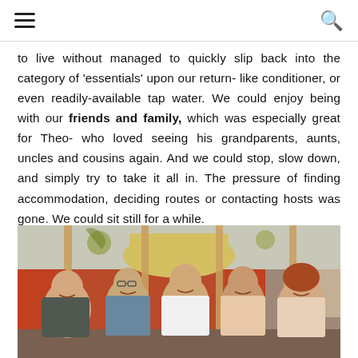[hamburger menu icon] [search icon]
to live without managed to quickly slip back into the category of 'essentials' upon our return- like conditioner, or even readily-available tap water. We could enjoy being with our friends and family, which was especially great for Theo- who loved seeing his grandparents, aunts, uncles and cousins again. And we could stop, slow down, and simply try to take it all in. The pressure of finding accommodation, deciding routes or contacting hosts was gone. We could sit still for a while.
[Figure (photo): Group photo of five people (four adults and possibly a young adult) smiling at a restaurant table with bamboo poles and tropical decor in the background.]